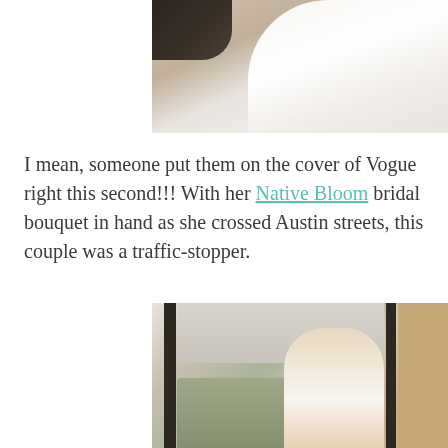[Figure (photo): Wedding photo showing feet of a couple from above — dark dress shoes on the left and white bridal gown fabric on the right, on a light stone/tile surface.]
I mean, someone put them on the cover of Vogue right this second!!! With her Native Bloom bridal bouquet in hand as she crossed Austin streets, this couple was a traffic-stopper.
[Figure (photo): Wedding photo of a bride laughing near a large window, with a building and greenery visible outside. The bride has brown hair and is wearing white. Another person is partially visible below.]